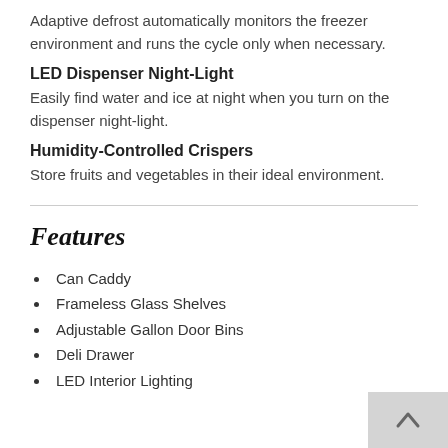Adaptive defrost automatically monitors the freezer environment and runs the cycle only when necessary.
LED Dispenser Night-Light
Easily find water and ice at night when you turn on the dispenser night-light.
Humidity-Controlled Crispers
Store fruits and vegetables in their ideal environment.
Features
Can Caddy
Frameless Glass Shelves
Adjustable Gallon Door Bins
Deli Drawer
LED Interior Lighting